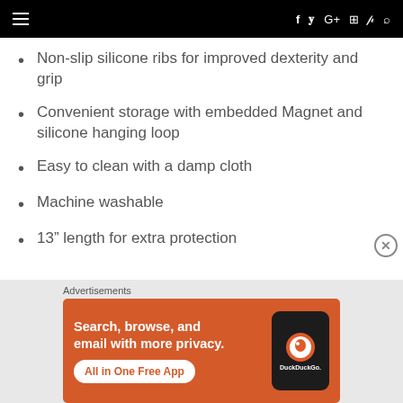Navigation bar with hamburger menu and social icons
Non-slip silicone ribs for improved dexterity and grip
Convenient storage with embedded Magnet and silicone hanging loop
Easy to clean with a damp cloth
Machine washable
13” length for extra protection
[Figure (screenshot): DuckDuckGo advertisement banner with orange background showing 'Search, browse, and email with more privacy. All in One Free App' text with phone graphic and DuckDuckGo logo]